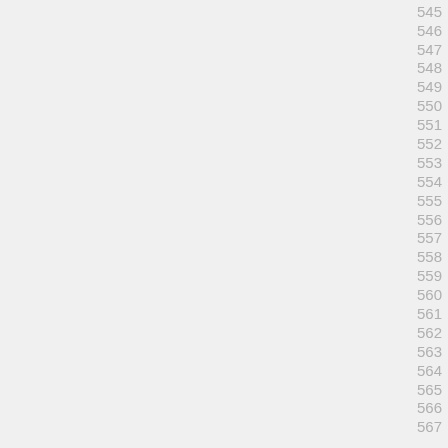545
546
547
548
549
550
551
552
553
554
555
556
557
558
559
560
561
562
563
564
565
566
567